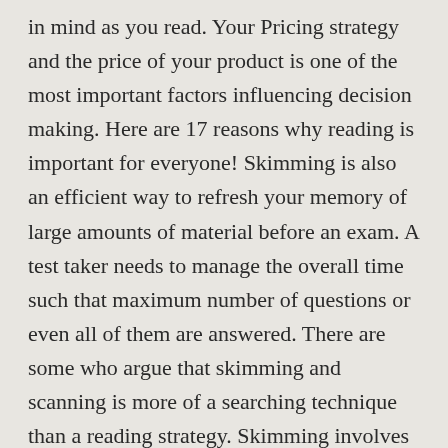in mind as you read. Your Pricing strategy and the price of your product is one of the most important factors influencing decision making. Here are 17 reasons why reading is important for everyone! Skimming is also an efficient way to refresh your memory of large amounts of material before an exam. A test taker needs to manage the overall time such that maximum number of questions or even all of them are answered. There are some who argue that skimming and scanning is more of a searching technique than a reading strategy. Skimming involves not reading every word, but instead moving the eyes quickly over the text and allowing the main ideas (nouns, verbs) to become obvious. Visual & verbal cues: Watch